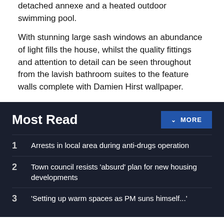detached annexe and a heated outdoor swimming pool.
With stunning large sash windows an abundance of light fills the house, whilst the quality fittings and attention to detail can be seen throughout from the lavish bathroom suites to the feature walls complete with Damien Hirst wallpaper.
Most Read
1  Arrests in local area during anti-drugs operation
2  Town council resists 'absurd' plan for new housing developments
3  'Setting up warm spaces as PM suns himself...'